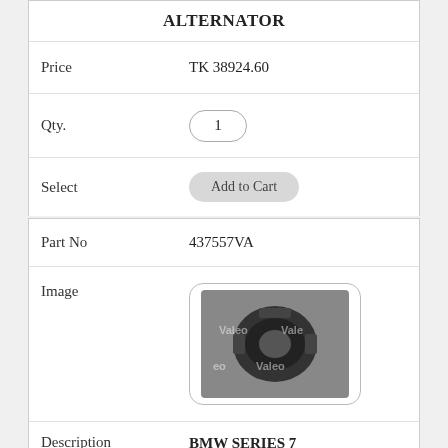ALTERNATOR
Price: TK 38924.60
Qty. 1
Select: Add to Cart
Part No: 437557VA
[Figure (photo): Photo of a BMW alternator with Valeo branding watermark]
Description: BMW SERIES 7 E65/E66/E67 2001 ALTERNATOR
Price: TK 48573.80
Qty. 1